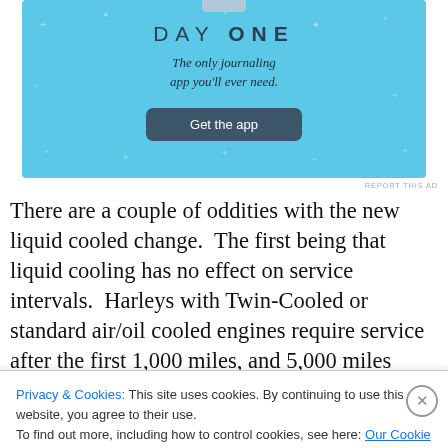[Figure (screenshot): Advertisement banner for 'Day One' journaling app on a light blue background with sparkle decorations, tagline 'The only journaling app you'll ever need.' and a dark blue 'Get the app' button.]
There are a couple of oddities with the new liquid cooled change.  The first being that liquid cooling has no effect on service intervals.  Harleys with Twin-Cooled or standard air/oil cooled engines require service after the first 1,000 miles, and 5,000 miles thereafter.  And unlike oil and air-
Privacy & Cookies: This site uses cookies. By continuing to use this website, you agree to their use.
To find out more, including how to control cookies, see here: Our Cookie Policy
Close and accept